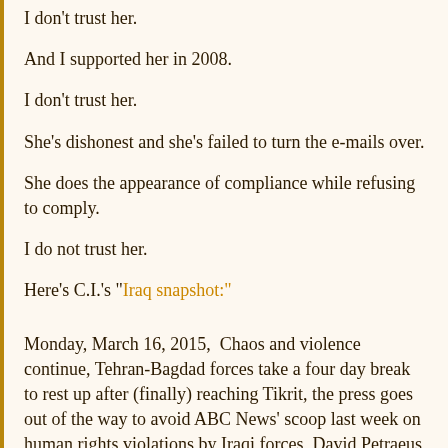I don't trust her.
And I supported her in 2008.
I don't trust her.
She's dishonest and she's failed to turn the e-mails over.
She does the appearance of compliance while refusing to comply.
I do not trust her.
Here's C.I.'s "Iraq snapshot:"
Monday, March 16, 2015,  Chaos and violence continue, Tehran-Bagdad forces take a four day break to rest up after (finally) reaching Tikrit, the press goes out of the way to avoid ABC News' scoop last week on human rights violations by Iraqi forces, David Petraeus